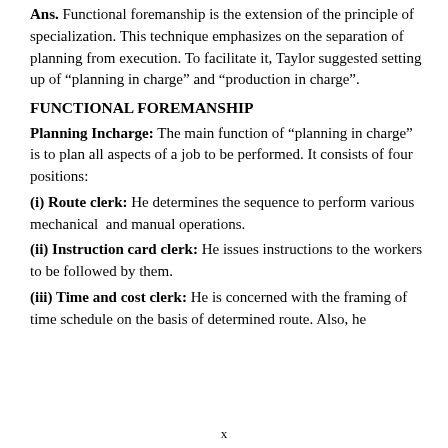Ans. Functional foremanship is the extension of the principle of specialization. This technique emphasizes on the separation of planning from execution. To facilitate it, Taylor suggested setting up of “planning in charge” and “production in charge”.
FUNCTIONAL FOREMANSHIP
Planning Incharge: The main function of “planning in charge” is to plan all aspects of a job to be performed. It consists of four positions:
(i) Route clerk: He determines the sequence to perform various mechanical and manual operations.
(ii) Instruction card clerk: He issues instructions to the workers to be followed by them.
(iii) Time and cost clerk: He is concerned with the framing of time schedule on the basis of determined route. Also, he
x